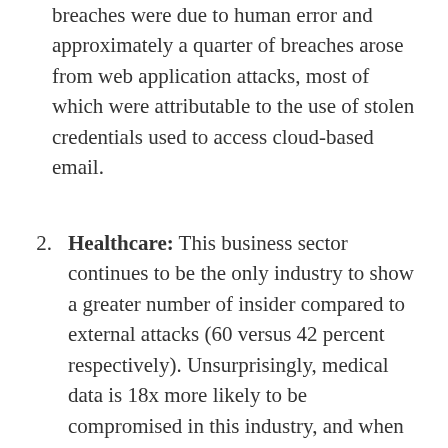breaches were due to human error and approximately a quarter of breaches arose from web application attacks, most of which were attributable to the use of stolen credentials used to access cloud-based email.
Healthcare: This business sector continues to be the only industry to show a greater number of insider compared to external attacks (60 versus 42 percent respectively). Unsurprisingly, medical data is 18x more likely to be compromised in this industry, and when an internal actor is involved, is it 14x more likely to